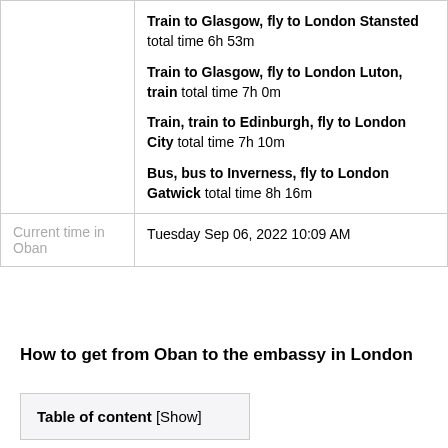|  | Train to Glasgow, fly to London Stansted total time 6h 53m
Train to Glasgow, fly to London Luton, train total time 7h 0m
Train, train to Edinburgh, fly to London City total time 7h 10m
Bus, bus to Inverness, fly to London Gatwick total time 8h 16m |
| Current time in Oban | Tuesday Sep 06, 2022 10:09 AM |
How to get from Oban to the embassy in London
Table of content [Show]